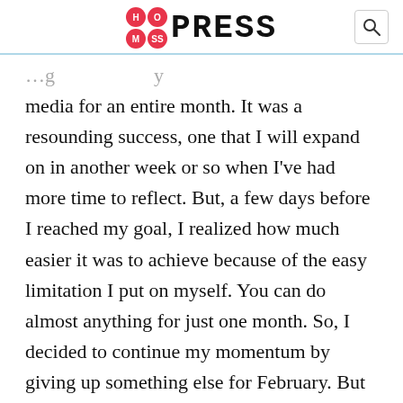HotMess Press
media for an entire month. It was a resounding success, one that I will expand on in another week or so when I've had more time to reflect. But, a few days before I reached my goal, I realized how much easier it was to achieve because of the easy limitation I put on myself. You can do almost anything for just one month. So, I decided to continue my momentum by giving up something else for February. But why stop there? And thus, my late-made, but achievable New Year's resolution was born. I'm giving up something different each